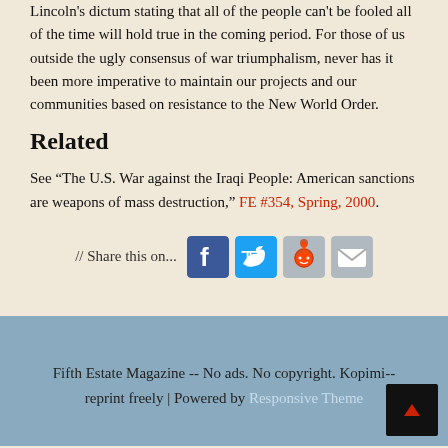Lincoln's dictum stating that all of the people can't be fooled all of the time will hold true in the coming period. For those of us outside the ugly consensus of war triumphalism, never has it been more imperative to maintain our projects and our communities based on resistance to the New World Order.
Related
See “The U.S. War against the Iraqi People: American sanctions are weapons of mass destruction,” FE #354, Spring, 2000.
// Share this on...
Fifth Estate Magazine -- No ads. No copyright. Kopimi-- reprint freely | Powered by Responsive Theme